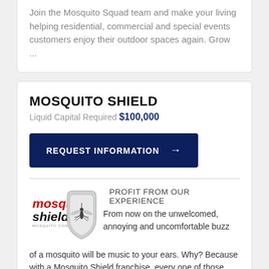Join the Mosquito Squad team and make your living helping residential, commercial and special events customers enjoy their outdoor spaces again. Grow ...
MOSQUITO SHIELD
Liquid Capital Required $100,000
REQUEST INFORMATION →
[Figure (logo): Mosquito Shield logo with red italic text 'mosquito shield' and a shield graphic with mosquito silhouette]
PROFIT FROM OUR EXPERIENCE From now on the unwelcomed, annoying and uncomfortable buzz of a mosquito will be music to your ears. Why? Because with a Mosquito Shield franchise, every one of those little buggers is money in the bank. PROVEN, PROFITABLE